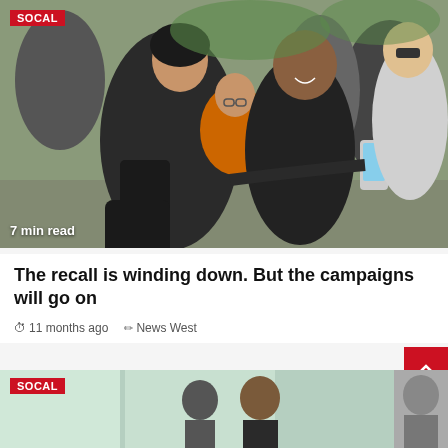[Figure (photo): Group of people taking a selfie outdoors at a campaign event. A woman in black holds a child in an orange shirt while a man in a black shirt smiles. Others surround them holding phones.]
7 min read
The recall is winding down. But the campaigns will go on
11 months ago   News West
[Figure (photo): Partial view of people in a hallway or corridor, with SOCAL badge overlay.]